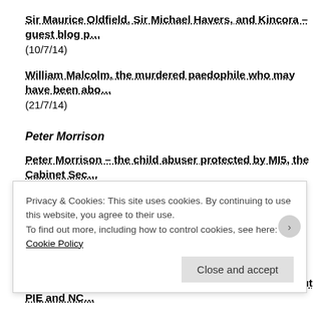Sir Maurice Oldfield, Sir Michael Havers, and Kincora – guest blog p… (10/7/14)
William Malcolm, the murdered paedophile who may have been abo… (21/7/14)
Peter Morrison
Peter Morrison – the child abuser protected by MI5, the Cabinet Sec… Thatcher – updated July 2015 (26/7/15)
Peter Morrison and the cover-up in the Tory Party – fully updated (6/…
Yes, Labour politicians need to answer questions about PIE and NC…
Privacy & Cookies: This site uses cookies. By continuing to use this website, you agree to their use. To find out more, including how to control cookies, see here: Cookie Policy